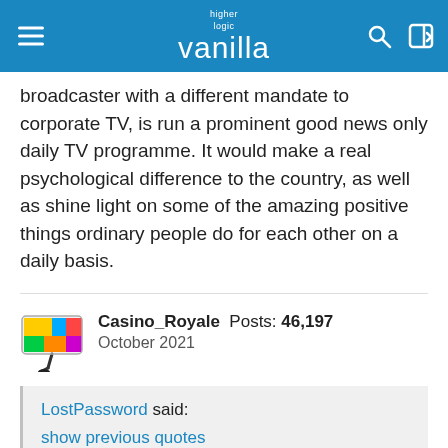higher logic vanilla
The kind of thing BBC could do as a publicly funded broadcaster with a different mandate to corporate TV, is run a prominent good news only daily TV programme. It would make a real psychological difference to the country, as well as shine light on some of the amazing positive things ordinary people do for each other on a daily basis.
Casino_Royale Posts: 46,197 October 2021
LostPassword said: show previous quotes I liked the bits of your English Heritage post about the position of their leader, but not the partisan conclusion - I don't know whether the